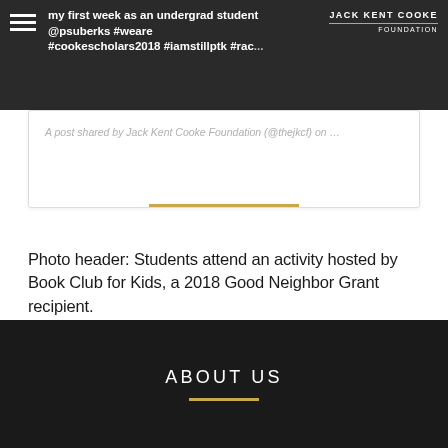my first week as an undergrad student @psuberks #weare #cookescholars2018 #iamstillptk #rac... — Jack Kent Cooke Foundation
A post shared by Jack Kent Cooke Foundation (@thejkcf) on …
Photo header: Students attend an activity hosted by Book Club for Kids, a 2018 Good Neighbor Grant recipient.
ABOUT US